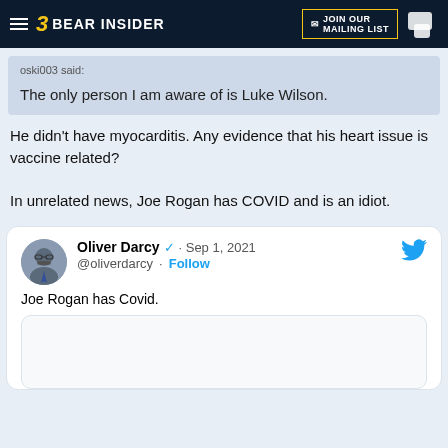Bear Insider — JOIN OUR MAILING LIST
oski003 said:

The only person I am aware of is Luke Wilson.
He didn't have myocarditis. Any evidence that his heart issue is vaccine related?

In unrelated news, Joe Rogan has COVID and is an idiot.
[Figure (screenshot): Embedded tweet from @oliverdarcy dated Sep 1, 2021 with text 'Joe Rogan has Covid.' and a media attachment below.]